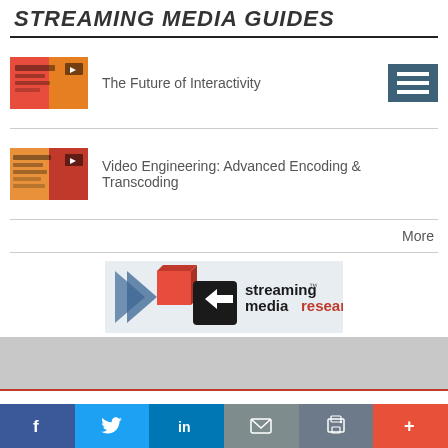STREAMING MEDIA GUIDES
The Future of Interactivity
Video Engineering: Advanced Encoding & Transcoding
More
[Figure (logo): Streaming Media Research logo banner with geometric shapes and bold text]
f  Twitter  in  Email  Print  +